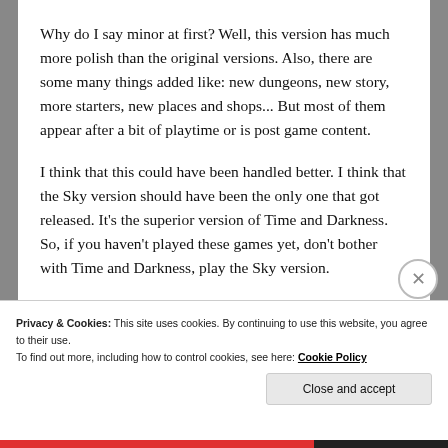Why do I say minor at first? Well, this version has much more polish than the original versions. Also, there are some many things added like: new dungeons, new story, more starters, new places and shops... But most of them appear after a bit of playtime or is post game content.
I think that this could have been handled better. I think that the Sky version should have been the only one that got released. It's the superior version of Time and Darkness. So, if you haven't played these games yet, don't bother with Time and Darkness, play the Sky version.
Privacy & Cookies: This site uses cookies. By continuing to use this website, you agree to their use.
To find out more, including how to control cookies, see here: Cookie Policy
Close and accept